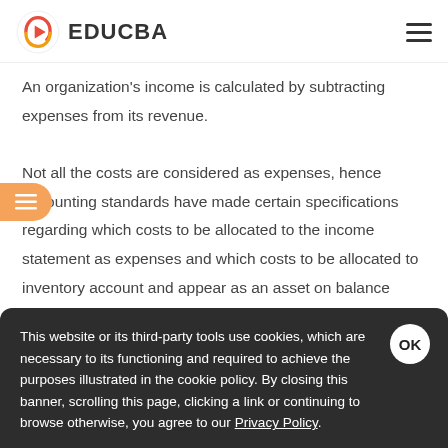EDUCBA
An organization's income is calculated by subtracting expenses from its revenue. Not all the costs are considered as expenses, hence accounting standards have made certain specifications regarding which costs to be allocated to the income statement as expenses and which costs to be allocated to inventory account and appear as an asset on balance sheet.
This website or its third-party tools use cookies, which are necessary to its functioning and required to achieve the purposes illustrated in the cookie policy. By closing this banner, scrolling this page, clicking a link or continuing to browse otherwise, you agree to our Privacy Policy.